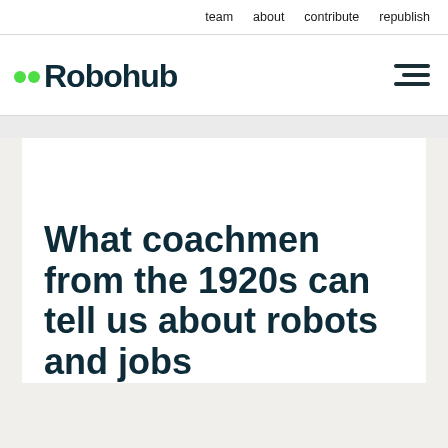team   about   contribute   republish
[Figure (logo): Robohub logo with two green dots and stylized dark teal text reading 'Robohub']
What coachmen from the 1920s can tell us about robots and jobs